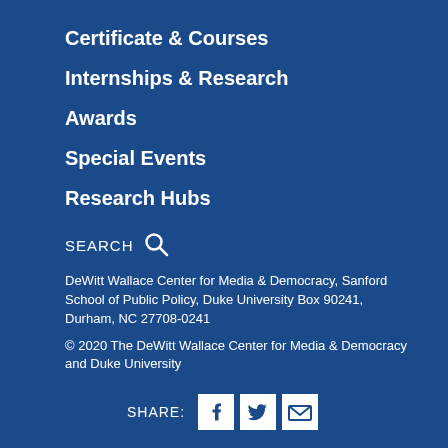Certificate & Courses
Internships & Research
Awards
Special Events
Research Hubs
SEARCH 🔍
DeWitt Wallace Center for Media & Democracy, Sanford School of Public Policy, Duke University Box 90241, Durham, NC 27708-0241
© 2020 The DeWitt Wallace Center for Media & Democracy and Duke University
SHARE: [Facebook] [Twitter] [Email]